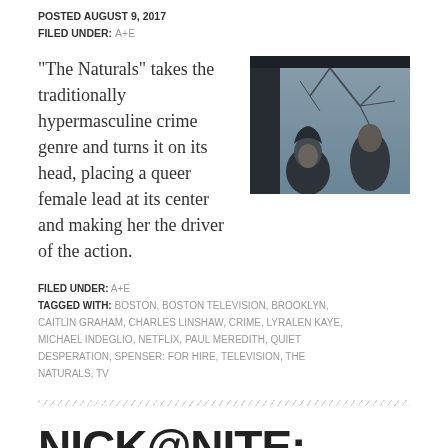POSTED AUGUST 9, 2017
FILED UNDER: A+E
“The Naturals” takes the traditionally hypermasculine crime genre and turns it on its head, placing a queer female lead at its center and making her the driver of the action.
[Figure (photo): Black and white cinematic still showing two people outdoors, one in a hooded jacket looking up, bare tree branches and car window visible in background.]
FILED UNDER: A+E
TAGGED WITH: BOSTON, BOSTON TELEVISION, BROOKLYN, CAITLIN GRAHAM, CHARLES LINSHAW, CRIME, LYRALEN KAYE, MICHAEL INDEGLIO, NETFLIX, PAUL MEREDITH, QUIET DESPERATION, SPENSER: FOR HIRE, TELEVISION, THE NATURALS, TV
NICK@NITE: POLARIS